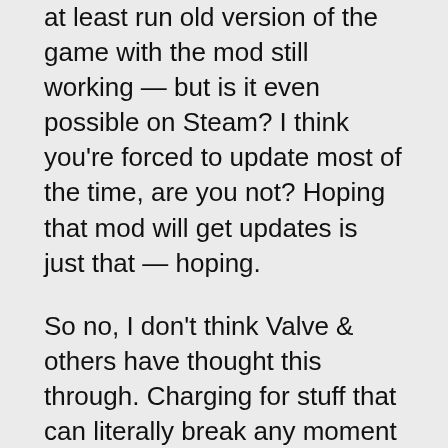at least run old version of the game with the mod still working — but is it even possible on Steam? I think you're forced to update most of the time, are you not? Hoping that mod will get updates is just that — hoping.
So no, I don't think Valve & others have thought this through. Charging for stuff that can literally break any moment with no recourse is not right. If they want to sell mods through the Steam, then they at least need to let me install exactly the version of the game that the particular mod requires.